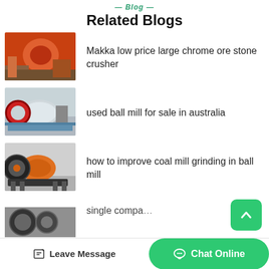— Blog —
Related Blogs
[Figure (photo): Industrial orange stone crusher machine]
Makka low price large chrome ore stone crusher
[Figure (photo): Gray cylindrical ball mill on railway tracks]
used ball mill for sale in australia
[Figure (photo): Orange ball mill grinding machine]
how to improve coal mill grinding in ball mill
[Figure (photo): Partially visible industrial machinery]
single compa…